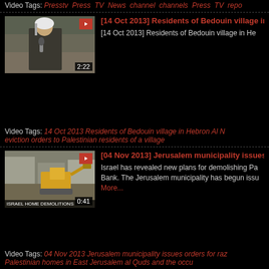Video Tags: Presstv Press TV News channel channels Press TV repo
[Figure (screenshot): Video thumbnail of man in keffiyeh being interviewed outdoors near rocky terrain, duration 2:22]
[14 Oct 2013] Residents of Bedouin village in He
[14 Oct 2013] Residents of Bedouin village in He
Video Tags: 14 Oct 2013 Residents of Bedouin village in Hebron Al N eviction orders to Palestinian residents of a village
[Figure (screenshot): Video thumbnail of construction excavator demolishing buildings, duration 0:41, with text overlay 'ISRAEL HOME DEMOLITIONS']
[04 Nov 2013] Jerusalem municipality issues o
Israel has revealed new plans for demolishing Pa Bank. The Jerusalem municipality has begun issu More...
Video Tags: 04 Nov 2013 Jerusalem municipality issues orders for raz Palestinian homes in East Jerusalem al Quds and the occu